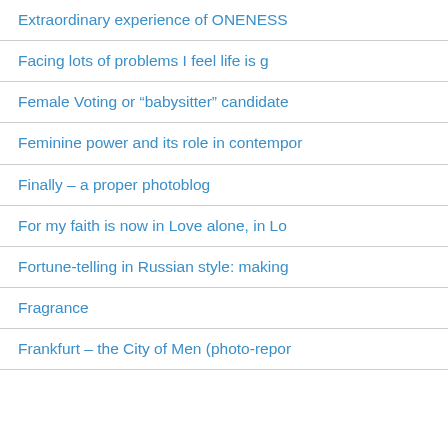Extraordinary experience of ONENESS
Facing lots of problems I feel life is g
Female Voting or “babysitter” candidate
Feminine power and its role in contempor
Finally – a proper photoblog
For my faith is now in Love alone, in Lo
Fortune-telling in Russian style: making
Fragrance
Frankfurt – the City of Men (photo-repor